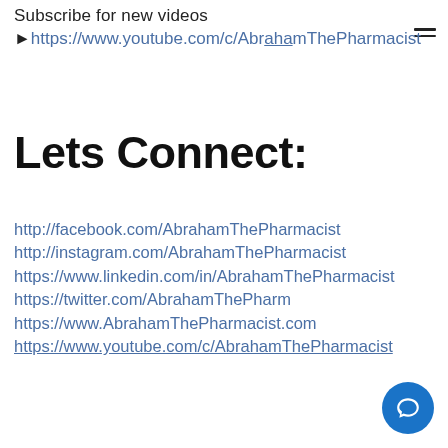Subscribe for new videos
►https://www.youtube.com/c/AbrahamThePharmacist
Lets Connect:
http://facebook.com/AbrahamThePharmacist
http://instagram.com/AbrahamThePharmacist
https://www.linkedin.com/in/AbrahamThePharmacist
https://twitter.com/AbrahamThePharm
https://www.AbrahamThePharmacist.com
https://www.youtube.com/c/AbrahamThePharmacist